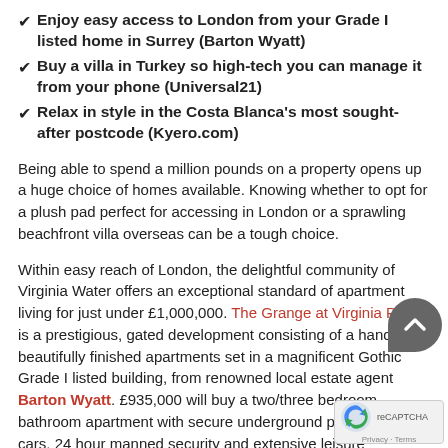Enjoy easy access to London from your Grade I listed home in Surrey (Barton Wyatt)
Buy a villa in Turkey so high-tech you can manage it from your phone (Universal21)
Relax in style in the Costa Blanca's most sought-after postcode (Kyero.com)
Being able to spend a million pounds on a property opens up a huge choice of homes available. Knowing whether to opt for a plush pad perfect for accessing in London or a sprawling beachfront villa overseas can be a tough choice.
Within easy reach of London, the delightful community of Virginia Water offers an exceptional standard of apartment living for just under £1,000,000. The Grange at Virginia Park is a prestigious, gated development consisting of a handful of beautifully finished apartments set in a magnificent Gothic Grade I listed building, from renowned local estate agent Barton Wyatt. £935,000 will buy a two/three bedroom bathroom apartment with secure underground parking three cars, 24 hour manned security and extensive leisure